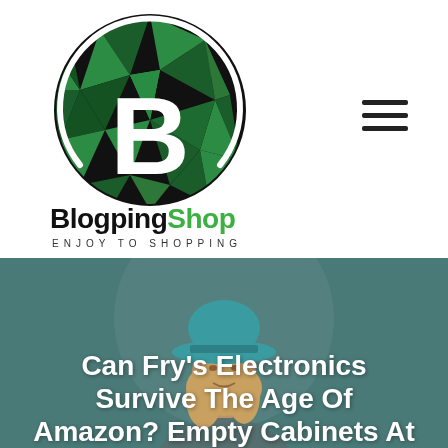[Figure (logo): BlogpingShop circular logo: green polygonal/diamond-faceted background with white letter B in center, white arc/circle border, dark background]
[Figure (other): Hamburger menu icon — three horizontal black lines stacked]
BlogpingShop
ENJOY TO SHOPPING
[Figure (photo): Hero banner: young woman wearing a teal/blue fedora hat, teal-green muted background with a large soft circle shape. Image is overlaid with article title text.]
Can Fry's Electronics Survive The Age Of Amazon? Empty Cabinets At